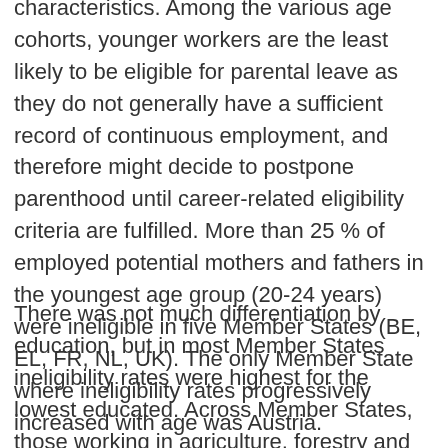characteristics. Among the various age cohorts, younger workers are the least likely to be eligible for parental leave as they do not generally have a sufficient record of continuous employment, and therefore might decide to postpone parenthood until career-related eligibility criteria are fulfilled. More than 25 % of employed potential mothers and fathers in the youngest age group (20-24 years) were ineligible in five Member States (BE, EL, FR, NL, UK). The only Member State where ineligibility rates progressively increased with age was Austria.
There was not much differentiation by education, but in most Member States ineligibility rates were highest for the lowest educated. Across Member States, those working in agriculture, forestry and fishery (generally but not exclusively male and self-employed) and those in service and sales work (a more mixed gender profile and typically employed rather than self-